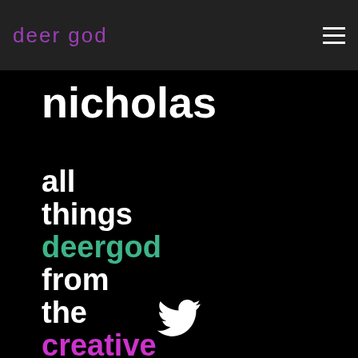deer god  ☰
nicholas
all things deergod from the creative director
[Figure (illustration): Twitter bird icon in white on black background]
[Figure (illustration): Facebook circle icon in white on black background]
[Figure (illustration): Instagram camera icon (outline) in white on black background]